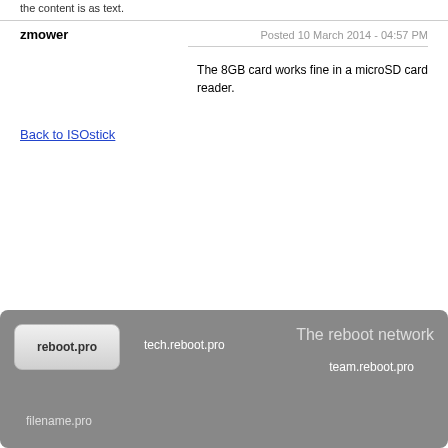the content is as text.
zmower
Posted 10 March 2014 - 04:57 PM
The 8GB card works fine in a microSD card reader.
Back to ISOstick
reboot.pro  tech.reboot.pro  The reboot network  team.reboot.pro  filename.pro